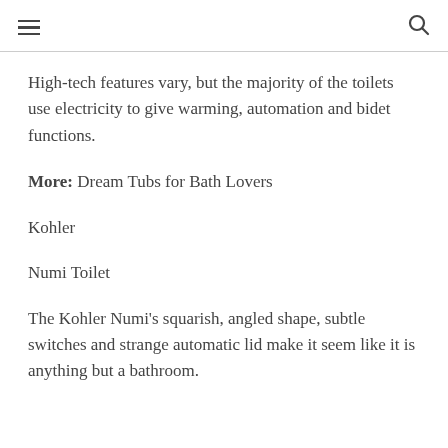≡ (menu) | 🔍 (search)
High-tech features vary, but the majority of the toilets use electricity to give warming, automation and bidet functions.
More: Dream Tubs for Bath Lovers
Kohler
Numi Toilet
The Kohler Numi's squarish, angled shape, subtle switches and strange automatic lid make it seem like it is anything but a bathroom.